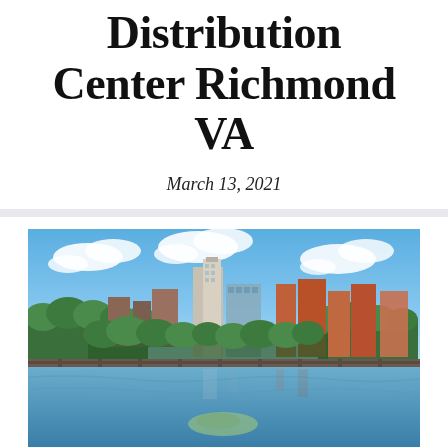Distribution Center Richmond VA
March 13, 2021
[Figure (photo): Aerial/riverside photograph of the Richmond, VA city skyline showing downtown buildings including tall skyscrapers, a river in the foreground with a railroad bridge, trees along the banks, and a blue sky with white clouds.]